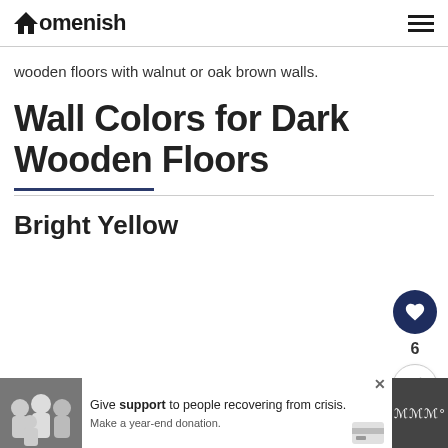Homenish
wooden floors with walnut or oak brown walls.
Wall Colors for Dark Wooden Floors
Bright Yellow
[Figure (other): Advertisement banner at bottom with family photo, text 'Give support to people recovering from crisis. Make a year-end donation.' with a close button and credit card icon]